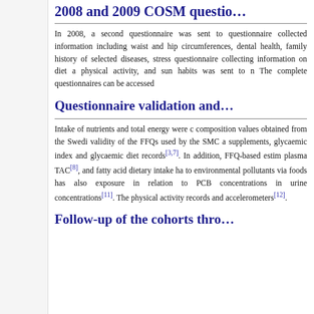2008 and 2009 COSM questio…
In 2008, a second questionnaire was sent to… questionnaire collected information including… waist and hip circumferences, dental health,… family history of selected diseases, stress… questionnaire collecting information on diet a… physical activity, and sun habits was sent to n… The complete questionnaires can be accessed…
Questionnaire validation and…
Intake of nutrients and total energy were c… composition values obtained from the Swedi… validity of the FFQs used by the SMC a… supplements, glycaemic index and glycaemic… diet records[3,7]. In addition, FFQ-based estim… plasma TAC[8], and fatty acid dietary intake ha… to environmental pollutants via foods has also… exposure in relation to PCB concentrations in… urine concentrations[11]. The physical activity… records and accelerometers[12].
Follow-up of the cohorts thro…